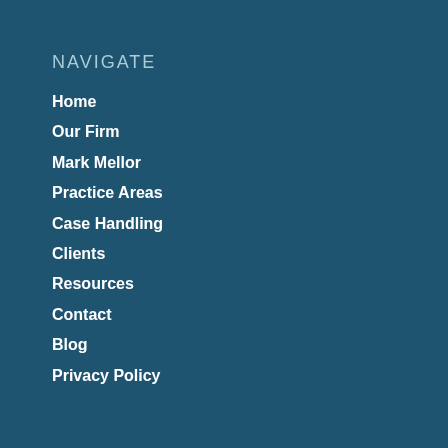NAVIGATE
Home
Our Firm
Mark Mellor
Practice Areas
Case Handling
Clients
Resources
Contact
Blog
Privacy Policy
PRACTICE AREAS
Real Estate
Construction Law
Mechanic's Lien – Stop Notice
Foreclosures